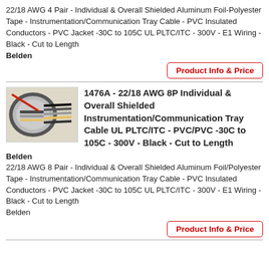22/18 AWG 4 Pair - Individual & Overall Shielded Aluminum Foil-Polyester Tape - Instrumentation/Communication Tray Cable - PVC Insulated Conductors - PVC Jacket -30C to 105C UL PLTC/ITC - 300V - E1 Wiring - Black - Cut to Length
Belden
Product Info & Price
[Figure (photo): Photo of a Belden multi-pair shielded cable cross-section showing braided shield, foil, and color-coded pairs with a red wire visible]
1476A - 22/18 AWG 8P Individual & Overall Shielded Instrumentation/Communication Tray Cable UL PLTC/ITC - PVC/PVC -30C to 105C - 300V - Black - Cut to Length
Belden
22/18 AWG 8 Pair - Individual & Overall Shielded Aluminum Foil/Polyester Tape - Instrumentation/Communication Tray Cable - PVC Insulated Conductors - PVC Jacket -30C to 105C UL PLTC/ITC - 300V - E1 Wiring - Black - Cut to Length Belden
Product Info & Price